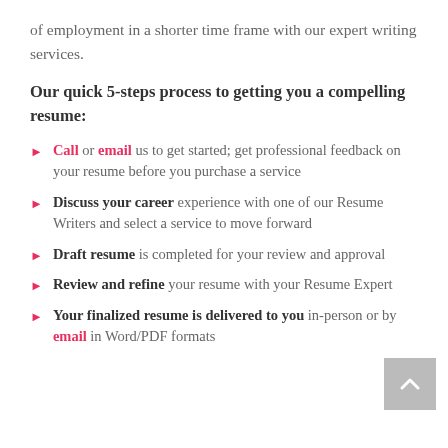of employment in a shorter time frame with our expert writing services.
Our quick 5-steps process to getting you a compelling resume:
Call or email us to get started; get professional feedback on your resume before you purchase a service
Discuss your career experience with one of our Resume Writers and select a service to move forward
Draft resume is completed for your review and approval
Review and refine your resume with your Resume Expert
Your finalized resume is delivered to you in-person or by email in Word/PDF formats